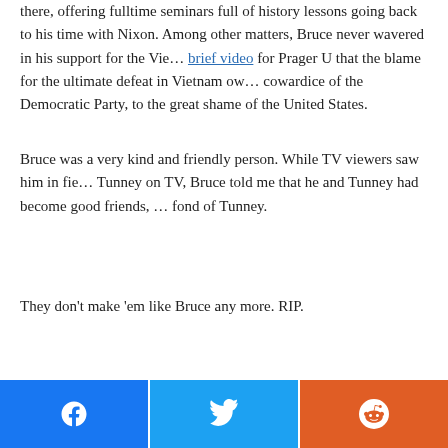there, offering fulltime seminars full of history lessons going back to his time with Nixon. Among other matters, Bruce never wavered in his support for the Vie... brief video for Prager U that the blame for the ultimate defeat in Vietnam ow... cowardice of the Democratic Party, to the great shame of the United States.
Bruce was a very kind and friendly person. While TV viewers saw him in fie... Tunney on TV, Bruce told me that he and Tunney had become good friends, ... fond of Tunney.
They don't make 'em like Bruce any more. RIP.
[Figure (infographic): Social share bar with three buttons: Facebook (blue), Twitter (light blue), Reddit (orange-red)]